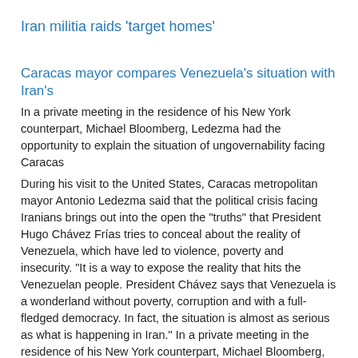Iran militia raids 'target homes'
Caracas mayor compares Venezuela's situation with Iran's
In a private meeting in the residence of his New York counterpart, Michael Bloomberg, Ledezma had the opportunity to explain the situation of ungovernability facing Caracas
During his visit to the United States, Caracas metropolitan mayor Antonio Ledezma said that the political crisis facing Iranians brings out into the open the "truths" that President Hugo Chávez Frías tries to conceal about the reality of Venezuela, which have led to violence, poverty and insecurity. "It is a way to expose the reality that hits the Venezuelan people. President Chávez says that Venezuela is a wonderland without poverty, corruption and with a full-fledged democracy. In fact, the situation is almost as serious as what is happening in Iran." In a private meeting in the residence of his New York counterpart, Michael Bloomberg, Ledezma had the opportunity to explain the situation of ungovernability hitting Caracas, the serious problems faced by the workers of the Metropolitan Mayor's office, said a